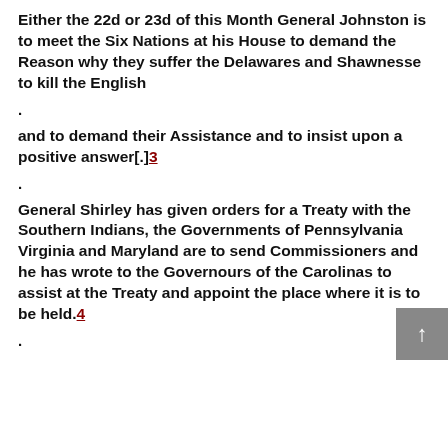Either the 22d or 23d of this Month General Johnston is to meet the Six Nations at his House to demand the Reason why they suffer the Delawares and Shawnesse to kill the English
.
and to demand their Assistance and to insist upon a positive answer[.]3
.
General Shirley has given orders for a Treaty with the Southern Indians, the Governments of Pennsylvania Virginia and Maryland are to send Commissioners and he has wrote to the Governours of the Carolinas to assist at the Treaty and appoint the place where it is to be held.4
.